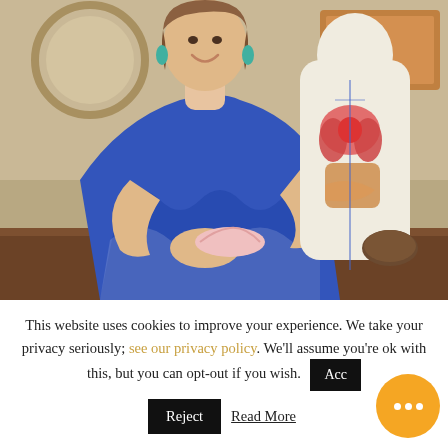[Figure (photo): A smiling woman wearing a blue patterned sleeveless dress with teal earrings, sitting at a table and holding an anatomical body model that shows internal organs. The model is positioned to her right. Indoor setting with warm background.]
This website uses cookies to improve your experience. We take your privacy seriously; see our privacy policy. We'll assume you're ok with this, but you can opt-out if you wish.